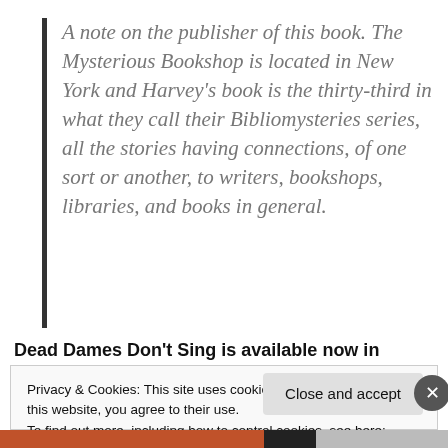A note on the publisher of this book. The Mysterious Bookshop is located in New York and Harvey’s book is the thirty-third in what they call their Bibliomysteries series, all the stories having connections, of one sort or another, to writers, bookshops, libraries, and books in general.
Dead Dames Don’t Sing is available now in
Privacy & Cookies: This site uses cookies. By continuing to use this website, you agree to their use.
To find out more, including how to control cookies, see here: Cookie Policy
Close and accept